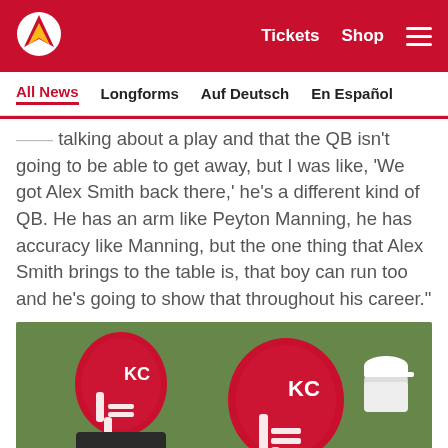Kansas City Chiefs website header with logo, Tickets, Shop, and menu
All News  Longforms  Auf Deutsch  En Español
talking about a play and that the QB isn't going to be able to get away, but I was like, 'We got Alex Smith back there,' he's a different kind of QB. He has an arm like Peyton Manning, he has accuracy like Manning, but the one thing that Alex Smith brings to the table is, that boy can run too and he's going to show that throughout his career."
[Figure (photo): Two Kansas City Chiefs players in red helmets at outdoor practice, with a person in white cap visible in the background against green grass]
[Figure (infographic): Social sharing icons: Facebook, Twitter, Email, and link/share button]